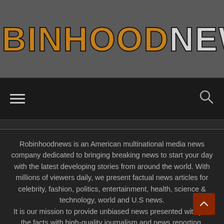[Figure (logo): Robinhood News logo with orange/gold 'ROBINHOOD' and grey 'NEWS' text on dark grey background]
[Figure (screenshot): Navigation bar with hamburger menu icon on left and search icon on right, dark background]
Robinhoodnews is an American multinational media news company dedicated to bringing breaking news to start your day with the latest developing stories from around the world. With millions of viewers daily, we present factual news articles for celebrity, fashion, politics, entertainment, health, science & technology, world and U.S news. It is our mission to provide unbiased news presented with just the facts with high-quality journalism and news reporting.